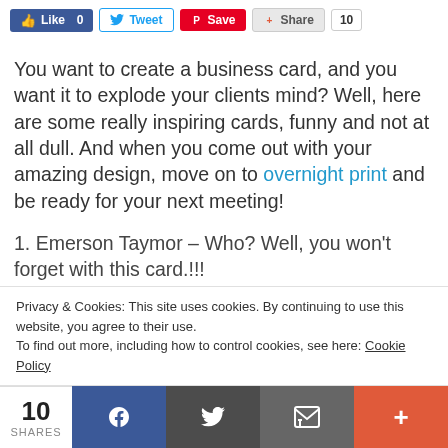[Figure (screenshot): Social sharing buttons: Like 0 (Facebook), Tweet (Twitter), Save (Pinterest), Share with count 10]
You want to create a business card, and you want it to explode your clients mind? Well, here are some really inspiring cards, funny and not at all dull. And when you come out with your amazing design, move on to overnight print and be ready for your next meeting!
1. Emerson Taymor – Who? Well, you won't forget with this card.!!!
[Figure (photo): Partial image of a business card design, beige/tan colored]
Privacy & Cookies: This site uses cookies. By continuing to use this website, you agree to their use.
To find out more, including how to control cookies, see here: Cookie Policy
[Figure (screenshot): Bottom share bar showing 10 SHARES, Facebook, Twitter, Email, and More (+) buttons]